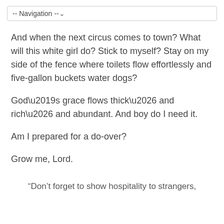-- Navigation --
And when the next circus comes to town? What will this white girl do? Stick to myself? Stay on my side of the fence where toilets flow effortlessly and five-gallon buckets water dogs?
God’s grace flows thick… and rich… and abundant. And boy do I need it.
Am I prepared for a do-over?
Grow me, Lord.
“Don’t forget to show hospitality to strangers,